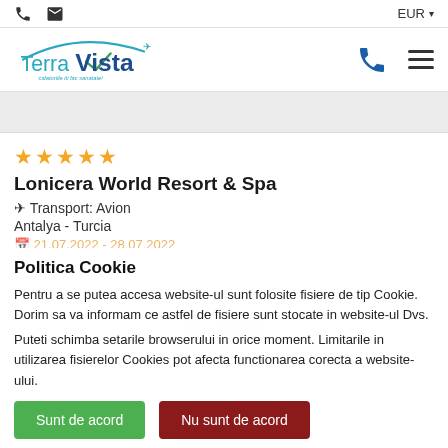☎ ✉  EUR ▾
[Figure (logo): TerraVista travel agency logo with arc, plane icon and tagline]
★★★★★
Lonicera World Resort & Spa
✈ Transport: Avion
Antalya - Turcia
21.07.2022 - 28.07.2022
Politica Cookie
Pentru a se putea accesa website-ul sunt folosite fisiere de tip Cookie. Dorim sa va informam ce astfel de fisiere sunt stocate in website-ul Dvs.
Puteti schimba setarile browserului in orice moment. Limitarile in utilizarea fisierelor Cookies pot afecta functionarea corecta a website-ului.
Sunt de acord
Nu sunt de acord